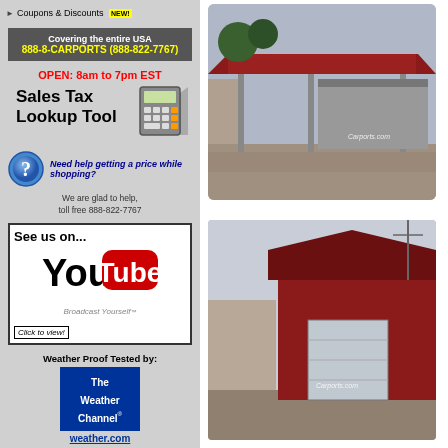Coupons & Discounts NEW!
Covering the entire USA
888-8-CARPORTS (888-822-7767)
OPEN: 8am to 7pm EST
Sales Tax Lookup Tool
Need help getting a price while shopping?
We are glad to help, toll free 888-822-7767
See us on... YouTube Broadcast Yourself™ Click to view!
Weather Proof Tested by:
The Weather Channel®
weather.com
[Figure (photo): Metal carport structure with red roof covering trailers, watermarked with Carports.com]
[Figure (photo): Red metal barn/garage building with roll-up door, watermarked with Carports.com]